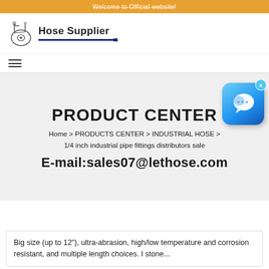Welcome to Official website!
[Figure (logo): Hose Supplier logo with industrial hose icon and blue underline]
[Figure (infographic): Hamburger menu icon (three horizontal lines)]
PRODUCT CENTER
Home > PRODUCTS CENTER > INDUSTRIAL HOSE > 1/4 inch industrial pipe fittings distributors sale
E-mail:sales07@lethose.com
[Figure (screenshot): Chat widget button with speech bubble icon and X close button]
Big size (up to 12"), ultra-abrasion, high/low temperature and corrosion resistant, and multiple length choices. I stone...